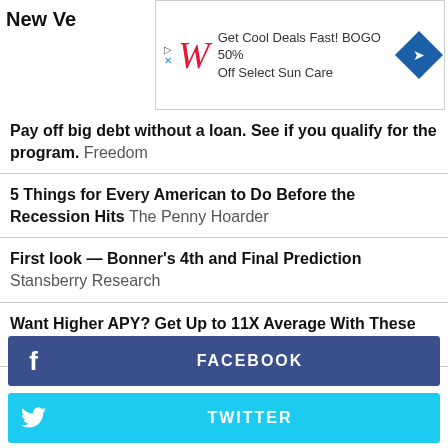New Ve
[Figure (screenshot): Advertisement banner: Walgreens logo with text 'Get Cool Deals Fast! BOGO 50% Off Select Sun Care' and a blue diamond navigation icon]
Pay off big debt without a loan. See if you qualify for the program. Freedom
5 Things for Every American to Do Before the Recession Hits The Penny Hoarder
First look — Bonner's 4th and Final Prediction Stansberry Research
Want Higher APY? Get Up to 11X Average With These Accounts. NerdWallet
[Figure (infographic): Social media share buttons: Facebook (dark blue), Twitter (light blue), Google+ (red), LinkedIn (dark teal), Reddit (light blue)]